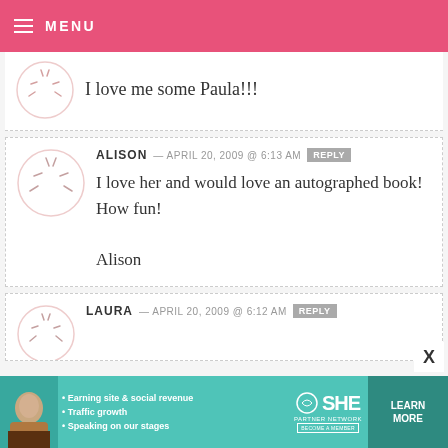MENU
I love me some Paula!!!
ALISON — APRIL 20, 2009 @ 6:13 AM  REPLY
I love her and would love an autographed book! How fun!
Alison
LAURA — APRIL 20, 2009 @ 6:12 AM  REPLY
[Figure (infographic): SHE Partner Network advertisement banner with photo of woman, bullet points about earning site & social revenue, traffic growth, speaking on our stages, SHE logo, and LEARN MORE button]